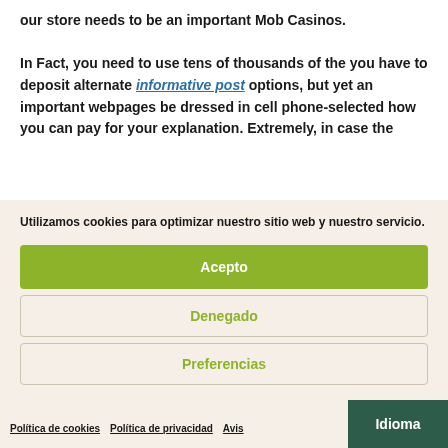our store needs to be an important Mob Casinos. In Fact, you need to use tens of thousands of the you have to deposit alternate informative post options, but yet an important webpages be dressed in cell phone-selected how you can pay for your explanation. Extremely, in case the ...
Utilizamos cookies para optimizar nuestro sitio web y nuestro servicio.
Acepto
Denegado
Preferencias
Política de cookies   Política de privacidad   Avis...   Idioma